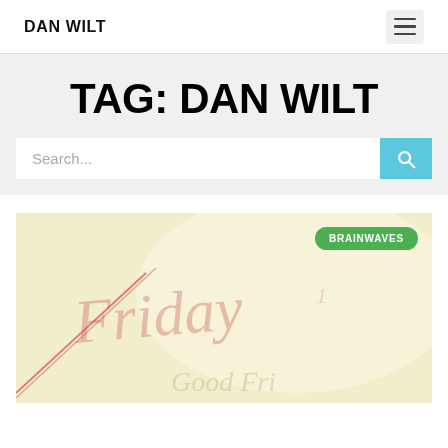DAN WILT
TAG: DAN WILT
Search...
[Figure (illustration): Beige/cream colored notebook or calendar page with handwritten-style text 'Friday' in reddish script, with 'Good Friday' partially visible, diagonal red line. Green 'BRAINWAVES' badge overlay in top right.]